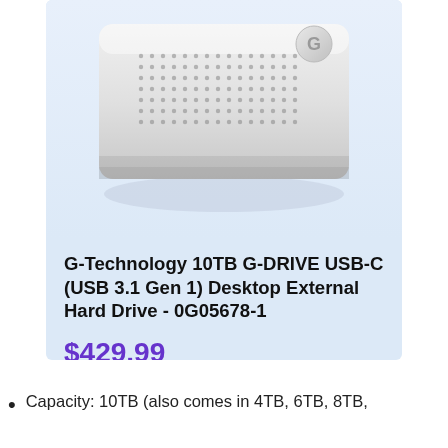[Figure (photo): G-Technology G-DRIVE external hard drive, silver aluminum casing with dot pattern ventilation and G logo, desktop form factor, partial top view cropped]
G-Technology 10TB G-DRIVE USB-C (USB 3.1 Gen 1) Desktop External Hard Drive - 0G05678-1
$429.99
Buy on Amazon
Capacity: 10TB (also comes in 4TB, 6TB, 8TB,